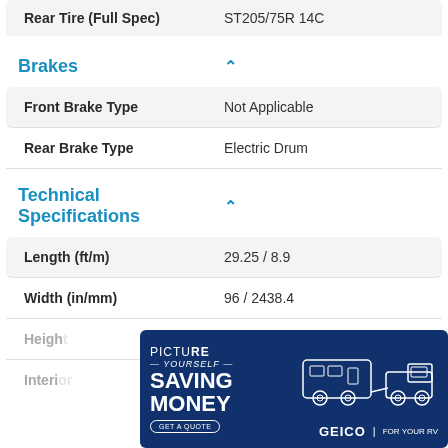| Spec | Value |
| --- | --- |
| Rear Tire (Full Spec) | ST205/75R 14C |
| Front Brake Type | Not Applicable |
| Rear Brake Type | Electric Drum |
| Length (ft/m) | 29.25 / 8.9 |
| Width (in/mm) | 96 / 2438.4 |
Brakes
Technical Specifications
[Figure (infographic): GEICO advertisement: 'Picture Yourself Saving Money' with illustration of a truck towing an RV trailer. Tagline: GEICO FOR YOUR RV. Button: GET A QUOTE.]